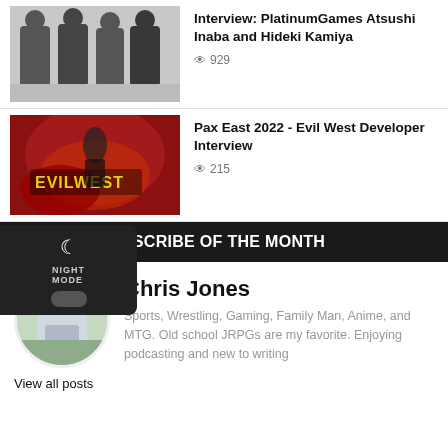[Figure (photo): Group photo of four people standing together, casual setting]
Interview: PlatinumGames Atsushi Inaba and Hideki Kamiya
929 views
[Figure (photo): Evil West video game promotional artwork with dark red tones and 'EVIL WEST' text]
Pax East 2022 - Evil West Developer Interview
215 views
LORD DIZZY'S SCRIBE OF THE MONTH
[Figure (photo): Portrait photo of Chris Jones standing outdoors]
Chris Jones
Sports, Wrestling, Gaming, Family Man, Anime, and MTG. Old school JRPGs are my favorite. Enjoying podcasting and new to writing
View all posts